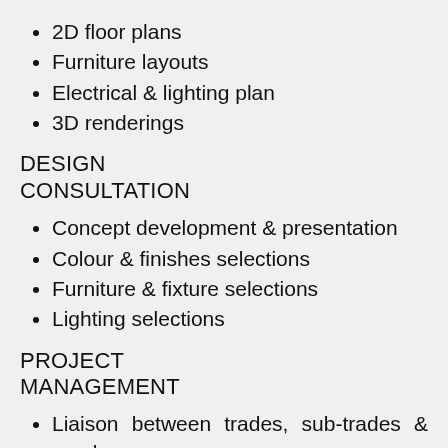2D floor plans
Furniture layouts
Electrical & lighting plan
3D renderings
DESIGN CONSULTATION
Concept development & presentation
Colour & finishes selections
Furniture & fixture selections
Lighting selections
PROJECT MANAGEMENT
Liaison between trades, sub-trades & vendors